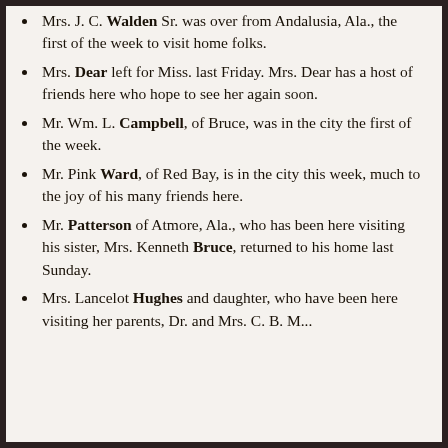Mrs. J. C. Walden Sr. was over from Andalusia, Ala., the first of the week to visit home folks.
Mrs. Dear left for Miss. last Friday. Mrs. Dear has a host of friends here who hope to see her again soon.
Mr. Wm. L. Campbell, of Bruce, was in the city the first of the week.
Mr. Pink Ward, of Red Bay, is in the city this week, much to the joy of his many friends here.
Mr. Patterson of Atmore, Ala., who has been here visiting his sister, Mrs. Kenneth Bruce, returned to his home last Sunday.
Mrs. Lancelot Hughes and daughter, who have been here visiting her parents, Dr. and Mrs. C. B. M... left for their home...